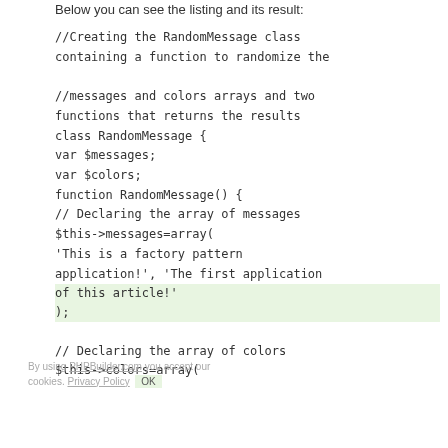Below you can see the listing and its result:
//Creating the RandomMessage class containing a function to randomize the
//messages and colors arrays and two functions that returns the results
class RandomMessage {
var $messages;
var $colors;
function RandomMessage() {
// Declaring the array of messages
$this->messages=array(
'This is a factory pattern application!', 'The first application of this article!'
);
// Declaring the array of colors
$this->colors=array(
By using PHPBuilder.com you accept our cookies. Privacy Policy OK